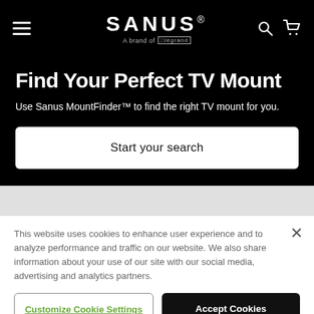SANUS® — A brand of Legrand — Navigation header with hamburger menu, search, and cart icons
Find Your Perfect TV Mount
Use Sanus MountFinder™ to find the right TV mount for you.
Start your search
This website uses cookies to enhance user experience and to analyze performance and traffic on our website. We also share information about your use of our site with our social media, advertising and analytics partners.
Customize Cookie Settings
Accept Cookies